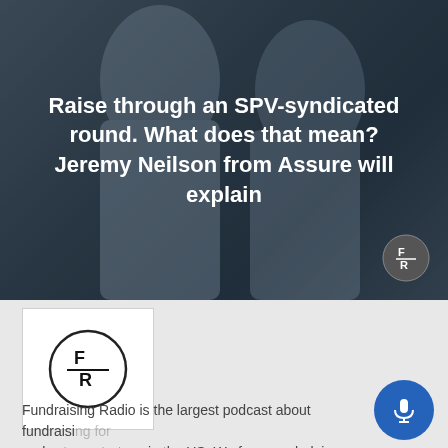[Figure (photo): Hero image with two people in background (blurred/dark), white bold text overlay with podcast episode title, and F/R logo badge in bottom right corner]
Raise through an SPV-syndicated round. What does that mean? Jeremy Neilson from Assure will explain
[Figure (logo): Fundraising Radio F/R logo: circle with F/R text inside, in a white square box]
Fundraising Radio is the largest podcast about fundraising for early stage startups in the US. We focus on helping founders